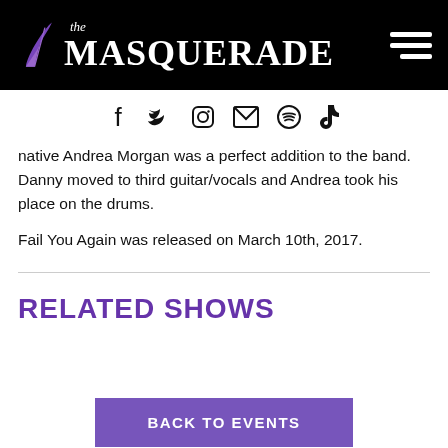The Masquerade
[Figure (logo): The Masquerade logo with feather icon and stylized text on black background, with hamburger menu icon on the right]
[Figure (infographic): Social media icons row: Facebook, Twitter, Instagram, Email, Spotify, TikTok]
native Andrea Morgan was a perfect addition to the band. Danny moved to third guitar/vocals and Andrea took his place on the drums.
Fail You Again was released on March 10th, 2017.
RELATED SHOWS
BACK TO EVENTS